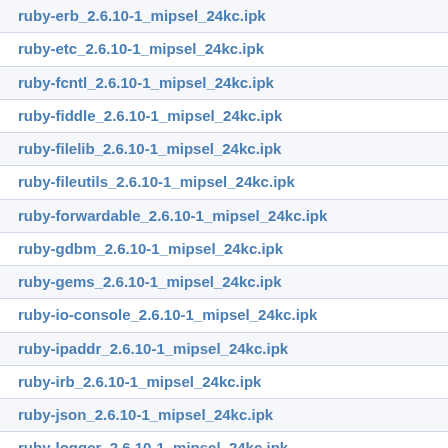ruby-erb_2.6.10-1_mipsel_24kc.ipk
ruby-etc_2.6.10-1_mipsel_24kc.ipk
ruby-fcntl_2.6.10-1_mipsel_24kc.ipk
ruby-fiddle_2.6.10-1_mipsel_24kc.ipk
ruby-filelib_2.6.10-1_mipsel_24kc.ipk
ruby-fileutils_2.6.10-1_mipsel_24kc.ipk
ruby-forwardable_2.6.10-1_mipsel_24kc.ipk
ruby-gdbm_2.6.10-1_mipsel_24kc.ipk
ruby-gems_2.6.10-1_mipsel_24kc.ipk
ruby-io-console_2.6.10-1_mipsel_24kc.ipk
ruby-ipaddr_2.6.10-1_mipsel_24kc.ipk
ruby-irb_2.6.10-1_mipsel_24kc.ipk
ruby-json_2.6.10-1_mipsel_24kc.ipk
ruby-logger_2.6.10-1_mipsel_24kc.ipk
ruby-matrix_2.6.10-1_mipsel_24kc.ipk
ruby-minitest_2.6.10-1_mipsel_24kc.ipk
ruby-misc_2.6.10-1_mipsel_24kc.ipk
ruby-mkmf_2.6.10-1_mipsel_24kc.ipk
ruby-multithread_2.6.10-1_mipsel_24kc.ipk
ruby-mutex_m_2.6.10-1_mipsel_24kc.ipk